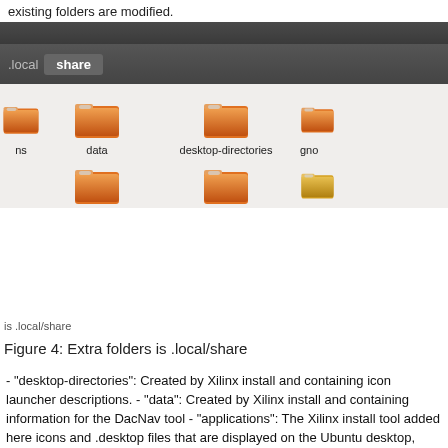existing folders are modified.
[Figure (screenshot): Ubuntu Nautilus file manager showing .local/share directory with folder icons: ns, data, desktop-directories, gno (partially visible), and two more rows of folders below]
is .local/share
Figure 4: Extra folders is .local/share
- "desktop-directories": Created by Xilinx install and containing icon launcher descriptions. - "data": Created by Xilinx install and containing information for the DacNav tool - "applications": The Xilinx install tool added here icons and .desktop files that are displayed on the Ubuntu desktop, Figure 5.